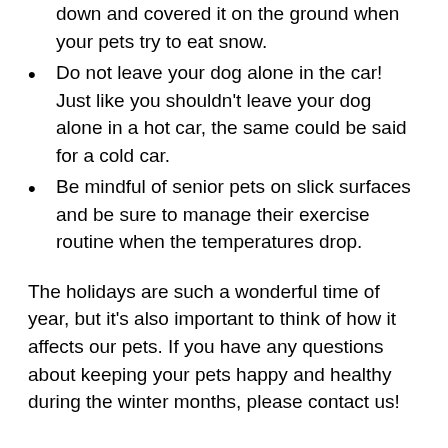down and covered it on the ground when your pets try to eat snow.
Do not leave your dog alone in the car! Just like you shouldn't leave your dog alone in a hot car, the same could be said for a cold car.
Be mindful of senior pets on slick surfaces and be sure to manage their exercise routine when the temperatures drop.
The holidays are such a wonderful time of year, but it's also important to think of how it affects our pets. If you have any questions about keeping your pets happy and healthy during the winter months, please contact us!